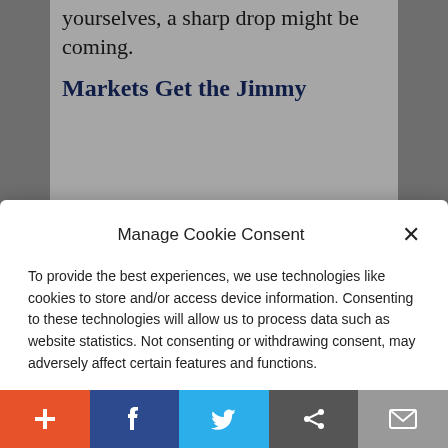yourselves, a sharp drop might be coming.
Markets Get the Jimmy
To provide the best experiences, we use technologies like cookies to store and/or access device information. Consenting to these technologies will allow us to process data such as website statistics. Not consenting or withdrawing consent, may adversely affect certain features and functions.
Accept
Cookie Policy  Privacy Policy
(Photo by: Photo12/Universal Images Group via Getty
+ f Twitter share mail